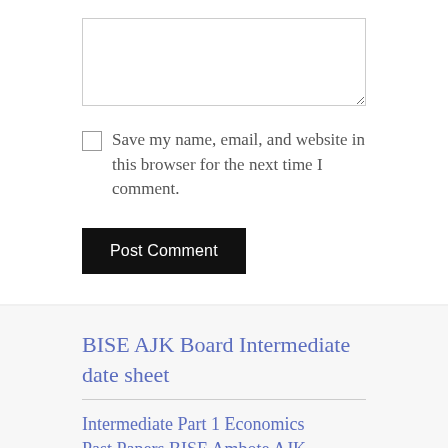[Figure (screenshot): Text input area (textarea) form field, empty, with light gray border]
Save my name, email, and website in this browser for the next time I comment.
Post Comment
BISE AJK Board Intermediate date sheet
Intermediate Part 1 Economics Past Papers BISE Ambote AJK ...